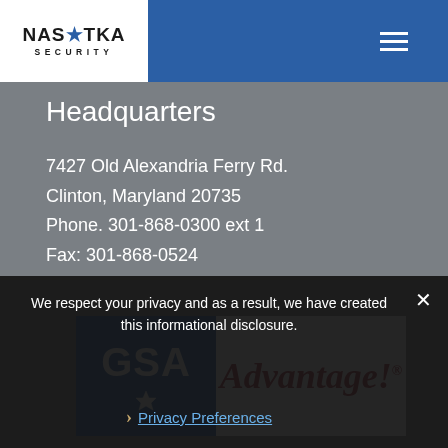NASATKA SECURITY
Headquarters
7427 Old Alexandria Ferry Rd.
Clinton, Maryland 20735
Phone. 301-868-0300 ext 1
Fax: 301-868-0524
[Figure (logo): GSA Advantage! logo with blue GSA box and red italic Advantage! text]
We respect your privacy and as a result, we have created this informational disclosure.
Privacy Preferences